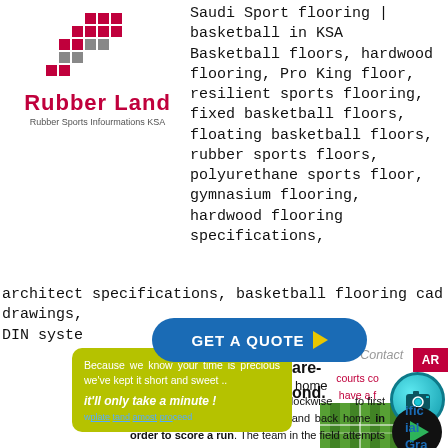[Figure (logo): Rubber Land logo with red and grey pixel blocks and red brand name text]
Saudi Sport flooring | basketball in KSA Basketball floors, hardwood flooring, Pro King floor, resilient sports flooring, fixed basketball floors, floating basketball floors, rubber sports floors, polyurethane sports floor, gymnasium flooring, hardwood flooring specifications, architect specifications, basketball flooring cad drawings, DIN system n
[Figure (infographic): GET A QUOTE button in blue with yellow arrow]
[Figure (infographic): Yellow-green speech bubble with text: Because we know your time is precious we've kept it short and sweet.. it'll only take a minute!]
Because we know your time is precious we've kept it short and sweet .. it'll only take a minute !
plate and must proceed counterclockwise to first base, second base, third base, and back home in order to score a run. The team in the field attempts both to prevent runs from scoring and to record
ce Request Contact
courts co have a f challenge common outdoor tenn.
[Figure (photo): Circular camera icon in teal/cyan color]
[Figure (photo): Circular play button icon in black with green triangle]
[Figure (photo): Photo of artificial grass / green sports flooring]
AR
ific ial Gra